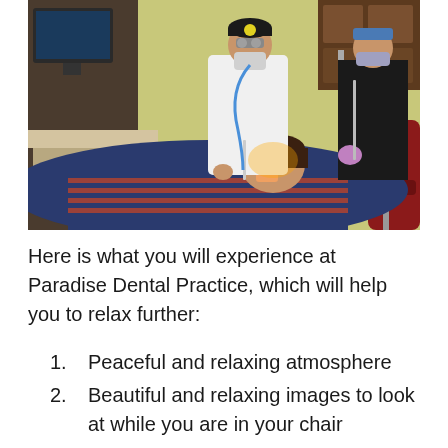[Figure (photo): A dental procedure in progress: a patient reclines in a dental chair wearing a blue and red striped garment. A dentist in a white coat, wearing loupes and a surgical mask, performs treatment. A dental assistant in a black top with purple gloves assists. Dental equipment and cabinetry are visible in the background.]
Here is what you will experience at Paradise Dental Practice, which will help you to relax further:
1. Peaceful and relaxing atmosphere
2. Beautiful and relaxing images to look at while you are in your chair